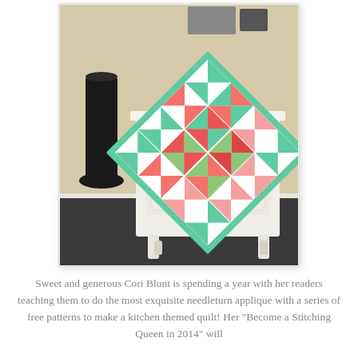[Figure (photo): A colorful patchwork quilt with a star pattern in red, pink, green, and white fabrics displayed on a white nightstand cabinet. A black vase is visible to the left. The quilt is positioned at a diagonal (diamond orientation) against the cabinet.]
Sweet and generous Cori Blunt is spending a year with her readers teaching them to do the most exquisite needleturn applique with a series of free patterns to make a kitchen themed quilt! Her "Become a Stitching Queen in 2014" will